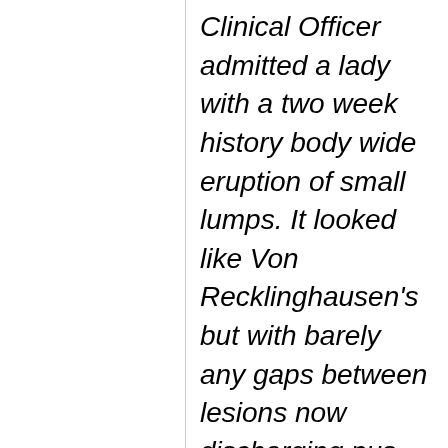Clinical Officer admitted a lady with a two week history body wide eruption of small lumps. It looked like Von Recklinghausen's but with barely any gaps between lesions now discharging pus and blood I